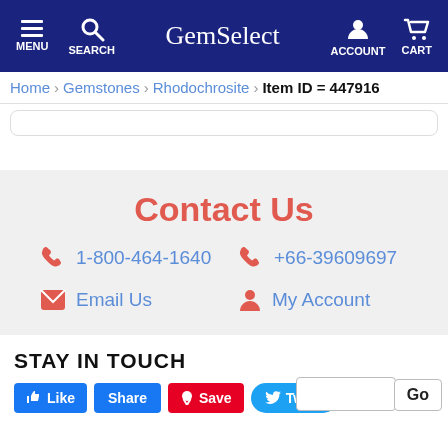MENU SEARCH GemSelect ACCOUNT CART
Home > Gemstones > Rhodochrosite > Item ID = 447916
Contact Us
1-800-464-1640
+66-39609697
Email Us
My Account
STAY IN TOUCH